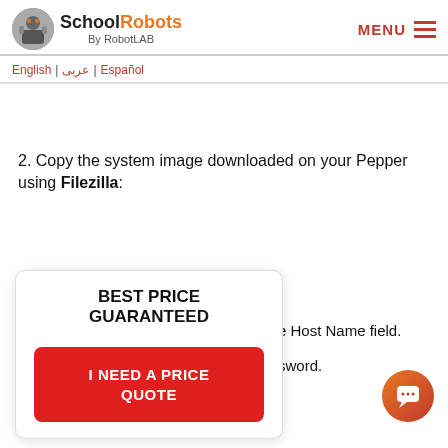School Robots By RobotLAB | English | عربي | Español | MENU
2. Copy the system image downloaded on your Pepper using Filezilla:
[Figure (infographic): Best Price Guaranteed promotional card with red 'I NEED A PRICE QUOTE' button]
e Host Name field.
sword.
6. Enter 22 in the Port field.